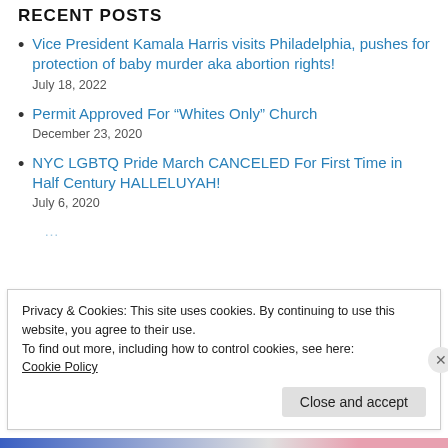RECENT POSTS
Vice President Kamala Harris visits Philadelphia, pushes for protection of baby murder aka abortion rights!
July 18, 2022
Permit Approved For “Whites Only” Church
December 23, 2020
NYC LGBTQ Pride March CANCELED For First Time in Half Century HALLELUJAH!
July 6, 2020
Privacy & Cookies: This site uses cookies. By continuing to use this website, you agree to their use.
To find out more, including how to control cookies, see here:
Cookie Policy
Close and accept